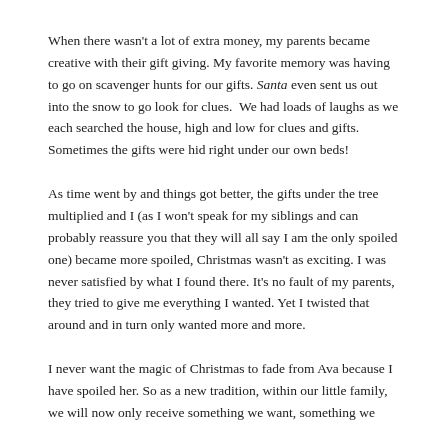When there wasn't a lot of extra money, my parents became creative with their gift giving. My favorite memory was having to go on scavenger hunts for our gifts. Santa even sent us out into the snow to go look for clues.  We had loads of laughs as we each searched the house, high and low for clues and gifts. Sometimes the gifts were hid right under our own beds!
As time went by and things got better, the gifts under the tree multiplied and I (as I won't speak for my siblings and can probably reassure you that they will all say I am the only spoiled one) became more spoiled, Christmas wasn't as exciting. I was never satisfied by what I found there. It's no fault of my parents, they tried to give me everything I wanted. Yet I twisted that around and in turn only wanted more and more.
I never want the magic of Christmas to fade from Ava because I have spoiled her. So as a new tradition, within our little family, we will now only receive something we want, something we